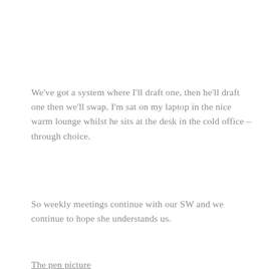We've got a system where I'll draft one, then he'll draft one then we'll swap. I'm sat on my laptop in the nice warm lounge whilst he sits at the desk in the cold office – through choice.
So weekly meetings continue with our SW and we continue to hope she understands us.
The pen picture
We send a pen picture. 300 words about us. This is the biggy, the marketing elevator pitch about us and what kind of a family
Privacy & Cookies: This site uses cookies. By continuing to use this website, you agree to their use. To find out more, including how to control cookies, see here: Cookie Policy
Close and accept
choosing a good loving family, young proven experience